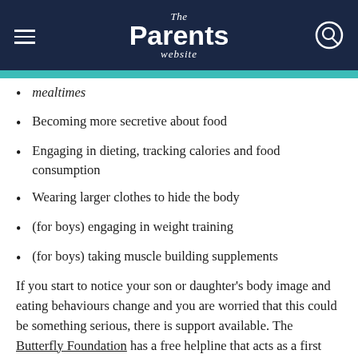The Parents website
mealtimes
Becoming more secretive about food
Engaging in dieting, tracking calories and food consumption
Wearing larger clothes to hide the body
(for boys) engaging in weight training
(for boys) taking muscle building supplements
If you start to notice your son or daughter’s body image and eating behaviours change and you are worried that this could be something serious, there is support available. The Butterfly Foundation has a free helpline that acts as a first stop for more information